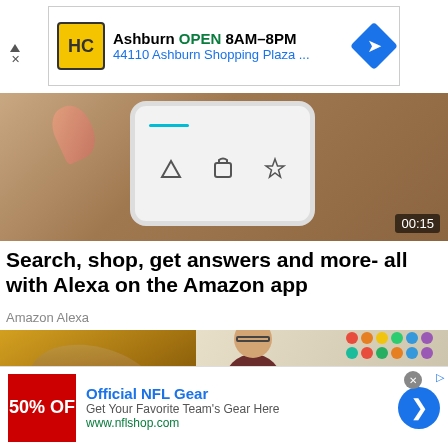[Figure (screenshot): Top banner ad: HC logo, Ashburn OPEN 8AM-8PM, 44110 Ashburn Shopping Plaza... with blue navigation arrow icon]
[Figure (screenshot): Video thumbnail showing a hand holding a smartphone with app icons, timer 00:15 in bottom right]
Search, shop, get answers and more- all with Alexa on the Amazon app
Amazon Alexa
[Figure (screenshot): Video thumbnails: left shows a spoon with food/spice, right shows a woman (Heidi Gustad) in a crafts room with colorful balls and shelves, with play button and name tag overlay]
[Figure (screenshot): Bottom ad: Official NFL Gear - Get Your Favorite Team's Gear Here - www.nflshop.com, with red 50% OFF banner and blue arrow button]